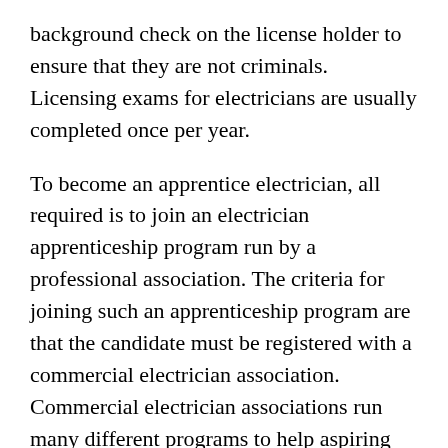background check on the license holder to ensure that they are not criminals. Licensing exams for electricians are usually completed once per year.
To become an apprentice electrician, all required is to join an electrician apprenticeship program run by a professional association. The criteria for joining such an apprenticeship program are that the candidate must be registered with a commercial electrician association. Commercial electrician associations run many different programs to help aspiring electricians learn all required to become Electrician.
An electrician's training when starting their career can vary from one state to another. Most electrical equipment suppliers will have a list of